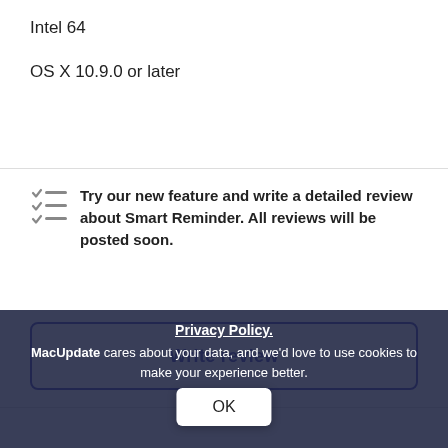Intel 64
OS X 10.9.0 or later
Try our new feature and write a detailed review about Smart Reminder. All reviews will be posted soon.
Write review
Write your thoughts in our old-fashioned comment
Privacy Policy.
MacUpdate cares about your data, and we'd love to use cookies to make your experience better.
OK